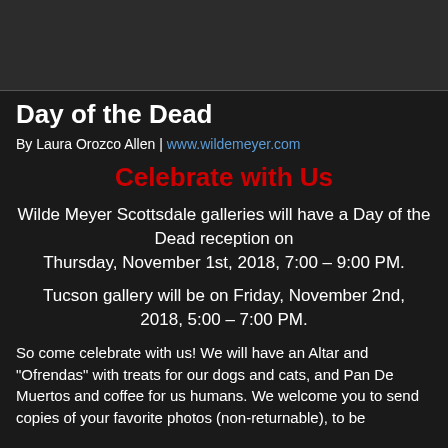[Figure (other): Dark gray top banner/header area]
Day of the Dead
By Laura Orozco Allen | www.wildemeyer.com
Celebrate with Us
Wilde Meyer Scottsdale galleries will have a Day of the Dead reception on Thursday, November 1st, 2018, 7:00 – 9:00 PM.
Tucson gallery will be on Friday, November 2nd, 2018, 5:00 – 7:00 PM.
So come celebrate with us! We will have an Altar and "Ofrendas" with treats for our dogs and cats, and Pan De Muertos and coffee for us humans. We welcome you to send copies of your favorite photos (non-returnable), to be